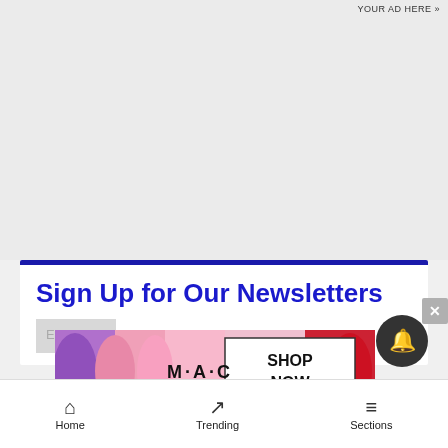YOUR AD HERE »
Sign Up for Our Newsletters
[Figure (photo): MAC cosmetics advertisement banner showing lipsticks in purple, pink, and red colors with MAC logo and SHOP NOW button]
Home   Trending   Sections